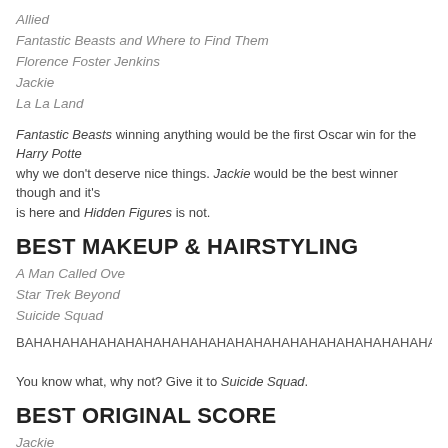Allied
Fantastic Beasts and Where to Find Them
Florence Foster Jenkins
Jackie
La La Land
Fantastic Beasts winning anything would be the first Oscar win for the Harry Potte... why we don't deserve nice things. Jackie would be the best winner though and it's... is here and Hidden Figures is not.
BEST MAKEUP & HAIRSTYLING
A Man Called Ove
Star Trek Beyond
Suicide Squad
BAHAHAHAHAHAHAHAHAHAHAHAHAHAHAHAHAHAHAHAHAHAHAHAHAHAHAHAHAHAHAHA
You know what, why not? Give it to Suicide Squad.
BEST ORIGINAL SCORE
Jackie
La La Land